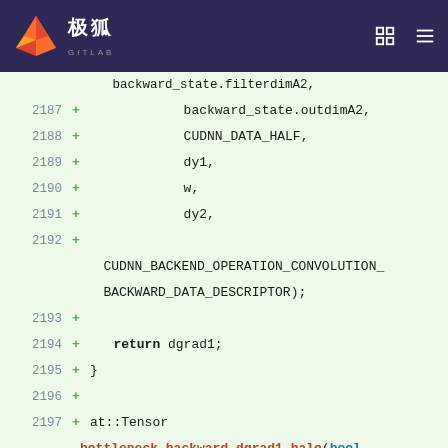极狐 GITLAB
[Figure (screenshot): GitLab code diff view showing C++ code lines 2187-2198 with added lines marked with + in a green diff background. Code includes CUDNN backward convolution descriptor parameters and a new function bottleneck_backward_dgrad1_halo.]